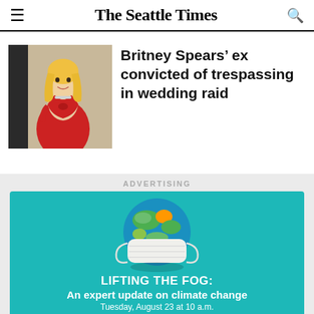The Seattle Times
[Figure (photo): Photo of Britney Spears in a red one-shoulder dress]
Britney Spears’ ex convicted of trespassing in wedding raid
ADVERTISING
[Figure (illustration): Advertisement banner with teal background showing a globe wearing a medical face mask. Text: LIFTING THE FOG: An expert update on climate change. Tuesday, August 23 at 10 a.m. Register now ►]